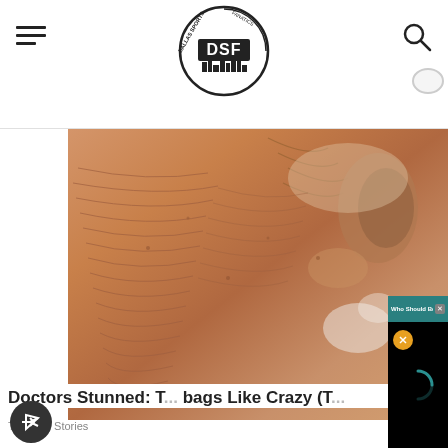DSF (Dallas Sports Fanatics) website header with hamburger menu, DSF logo, and search icon
[Figure (photo): Close-up photograph of aged skin showing deep wrinkles and texture, covering the left and upper portion of the page]
[Figure (screenshot): Video popup overlay: title bar reading 'Who Should Be the Starting QB for t...' with close X button, black video player area with yellow mute button and teal loading spinner]
Doctors Stunned: T... bags Like Crazy (T...
Trending Stories
[Figure (other): Share/forward button (dark circular icon with arrow) in bottom left corner]